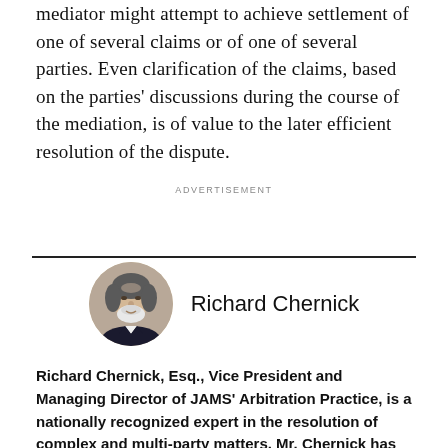mediator might attempt to achieve settlement of one of several claims or of one of several parties. Even clarification of the claims, based on the parties' discussions during the course of the mediation, is of value to the later efficient resolution of the dispute.
ADVERTISEMENT
[Figure (photo): Circular portrait photo of Richard Chernick, an older man with white beard wearing a dark suit]
Richard Chernick
Richard Chernick, Esq., Vice President and Managing Director of JAMS' Arbitration Practice, is a nationally recognized expert in the resolution of complex and multi-party matters. Mr. Chernick has conducted hundreds of large and complex arbitrations and mediations employing